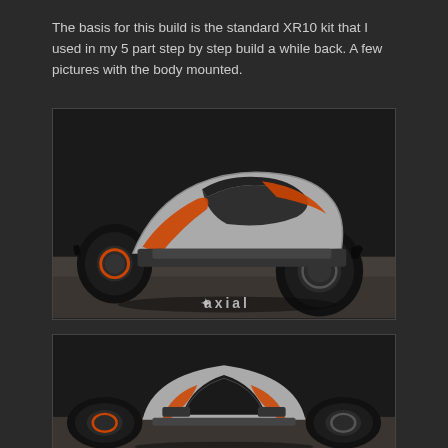The basis for this build is the standard XR10 kit that I used in my 5 part step by step build a while back. A few pictures with the body mounted.
[Figure (photo): Axial XR10 RC rock crawler / monster truck with silver and orange body, large black knobby tires, photographed at an angle on a light wood surface against a dark background. Axial logo watermark in bottom right.]
[Figure (photo): Front-view of the same Axial XR10 RC truck with silver and orange body, showing the front bumper, headlight area, and large black knobby tires on both sides, dark background.]